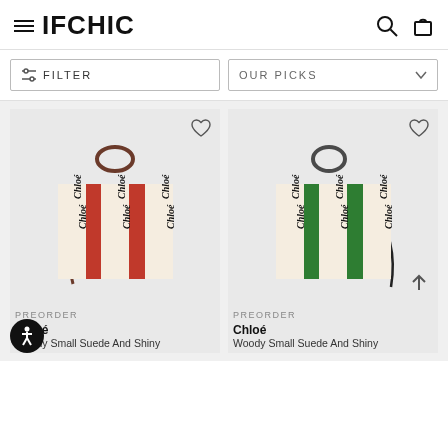IFCHIC
FILTER
OUR PICKS
PREORDER
[Figure (photo): Chloé Woody Small Suede And Shiny tote bag in red/cream with Chloé logo stripes]
PREORDER
[Figure (photo): Chloé Woody Small Suede And Shiny tote bag in green/cream with Chloé logo stripes]
Chloé
Woody Small Suede And Shiny
Chloé
Woody Small Suede And Shiny